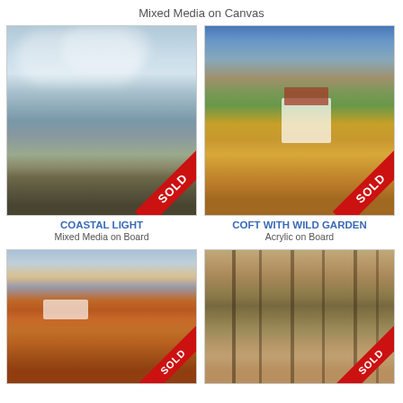Mixed Media on Canvas
[Figure (photo): Painting of coastal scene with waves, rocks, and dramatic sky - SOLD]
COASTAL LIGHT
Mixed Media on Board
[Figure (photo): Painting of white croft cottage with wild garden, red roof, mountains behind - SOLD]
COFT WITH WILD GARDEN
Acrylic on Board
[Figure (photo): Partial painting - coastal/abstract - partially visible]
COR
[Figure (photo): Painting of autumn landscape with white buildings among red foliage - SOLD]
[Figure (photo): Painting of autumn woodland path through tall trees - SOLD]
[Figure (photo): Partial painting - coastal scene - partially visible]